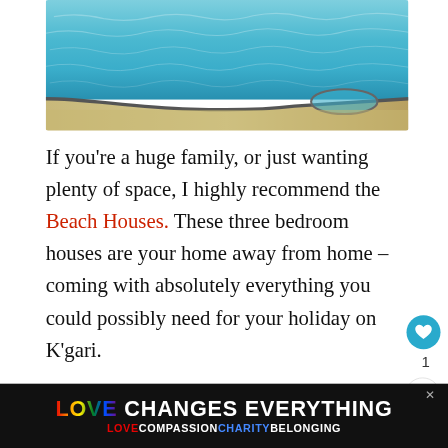[Figure (photo): Top portion of a pool/spa with turquoise blue water and sandy/stone ledge border]
If you're a huge family, or just wanting plenty of space, I highly recommend the Beach Houses.  These three bedroom houses are your home away from home – coming with absolutely everything you could possibly need for your holiday on K'gari.
The Beach Houses are located just a short walk away from the Eurong Resort and
[Figure (infographic): What's Next panel with thumbnail showing Is Genie Plus Worth It For...]
[Figure (infographic): Advertisement banner: LOVE CHANGES EVERYTHING / LOVE COMPASSION CHARITY BELONGING with rainbow gradient text]